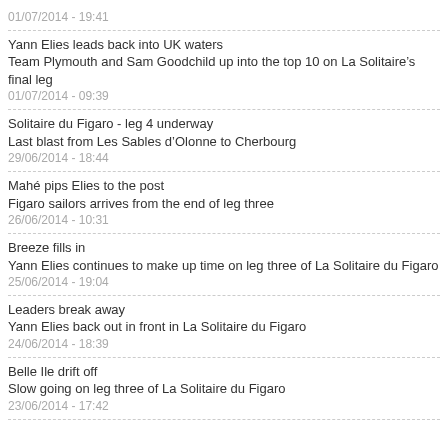01/07/2014 - 19:41
Yann Elies leads back into UK waters
Team Plymouth and Sam Goodchild up into the top 10 on La Solitaire’s final leg
01/07/2014 - 09:39
Solitaire du Figaro - leg 4 underway
Last blast from Les Sables d’Olonne to Cherbourg
29/06/2014 - 18:44
Mahé pips Elies to the post
Figaro sailors arrives from the end of leg three
26/06/2014 - 10:31
Breeze fills in
Yann Elies continues to make up time on leg three of La Solitaire du Figaro
25/06/2014 - 19:04
Leaders break away
Yann Elies back out in front in La Solitaire du Figaro
24/06/2014 - 18:39
Belle Ile drift off
Slow going on leg three of La Solitaire du Figaro
23/06/2014 - 17:42